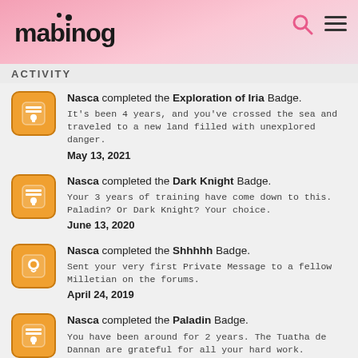mabinogi
ACTIVITY
Nasca completed the Exploration of Iria Badge. It's been 4 years, and you've crossed the sea and traveled to a new land filled with unexplored danger. May 13, 2021
Nasca completed the Dark Knight Badge. Your 3 years of training have come down to this. Paladin? Or Dark Knight? Your choice. June 13, 2020
Nasca completed the Shhhhh Badge. Sent your very first Private Message to a fellow Milletian on the forums. April 24, 2019
Nasca completed the Paladin Badge. You have been around for 2 years. The Tuatha de Dannan are grateful for all your hard work.